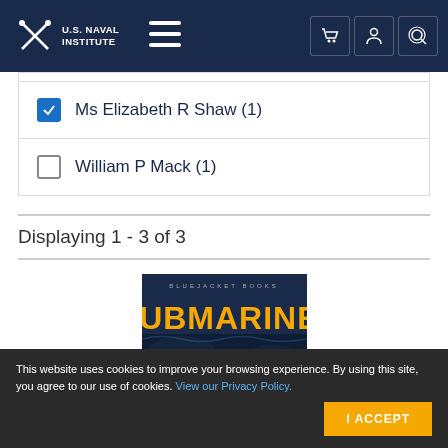U.S. Naval Institute
Ms Elizabeth R Shaw (1)
William P Mack (1)
Displaying 1 - 3 of 3
[Figure (photo): Book cover: Bluejacket Books - SUBMARINE!]
This website uses cookies to improve your browsing experience. By using this site, you agree to our use of cookies. View our Privacy Policy.
I ACCEPT